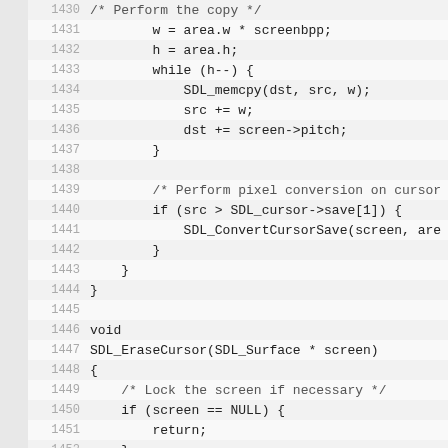Code listing lines 1430-1451 showing C source code for SDL cursor functions including copy loop, pixel conversion, SDL_EraseCursor function declaration and beginning.